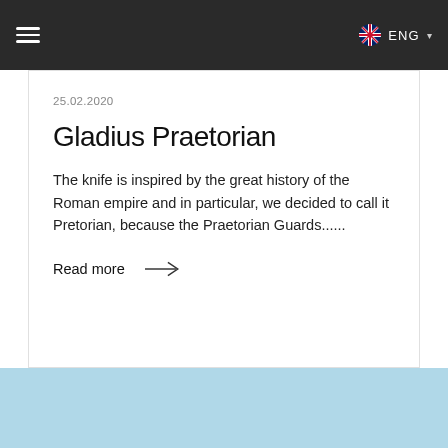≡   ENG ▾
25.02.2020
Gladius Praetorian
The knife is inspired by the great history of the Roman empire and in particular, we decided to call it Pretorian, because the Praetorian Guards......
Read more →
[Figure (photo): Bottom banner image strip, partially visible, appears to show an outdoor scene with blue sky]